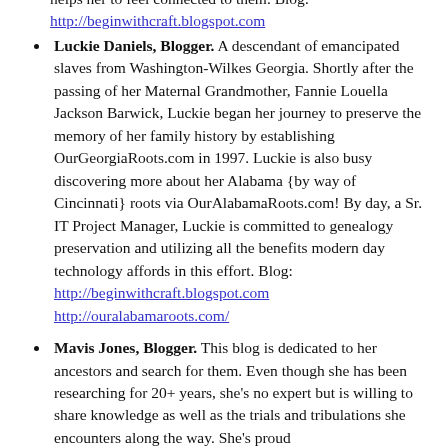helps her to feel connected to them. Blog: http://beginwithcraft.blogspot.com
Luckie Daniels, Blogger. A descendant of emancipated slaves from Washington-Wilkes Georgia. Shortly after the passing of her Maternal Grandmother, Fannie Louella Jackson Barwick, Luckie began her journey to preserve the memory of her family history by establishing OurGeorgiaRoots.com in 1997. Luckie is also busy discovering more about her Alabama {by way of Cincinnati} roots via OurAlabamaRoots.com! By day, a Sr. IT Project Manager, Luckie is committed to genealogy preservation and utilizing all the benefits modern day technology affords in this effort. Blog: http://beginwithcraft.blogspot.com http://ouralabamaroots.com/
Mavis Jones, Blogger. This blog is dedicated to her ancestors and search for them. Even though she has been researching for 20+ years, she's no expert but is willing to share knowledge as well as the trials and tribulations she encounters along the way. She's proud